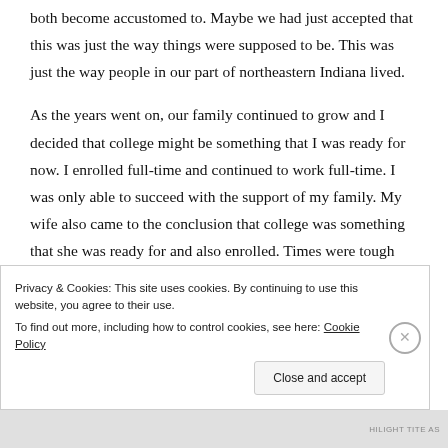both become accustomed to. Maybe we had just accepted that this was just the way things were supposed to be. This was just the way people in our part of northeastern Indiana lived.
As the years went on, our family continued to grow and I decided that college might be something that I was ready for now. I enrolled full-time and continued to work full-time. I was only able to succeed with the support of my family. My wife also came to the conclusion that college was something that she was ready for and also enrolled. Times were tough but we
Privacy & Cookies: This site uses cookies. By continuing to use this website, you agree to their use.
To find out more, including how to control cookies, see here: Cookie Policy